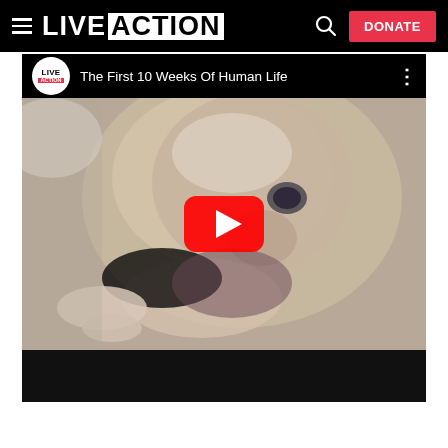LIVE ACTION — Navigation bar with hamburger menu, Live Action logo, search icon, and DONATE button
[Figure (screenshot): YouTube video embed showing 'The First 10 Weeks Of Human Life' by Live Action. The video thumbnail shows a close-up photograph of a human embryo/fetus. A large red YouTube play button is overlaid in the center. The video player has a black top bar with the Live Action logo, video title, and a three-dot menu, and a black bottom bar.]